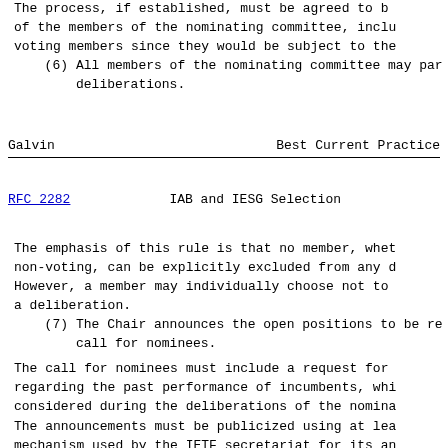The process, if established, must be agreed to by all of the members of the nominating committee, including non-voting members since they would be subject to the
(6)   All members of the nominating committee may par deliberations.
Galvin                    Best Current Practice
RFC 2282              IAB and IESG Selection
The emphasis of this rule is that no member, whet non-voting, can be explicitly excluded from any d However, a member may individually choose not to a deliberation.
(7)   The Chair announces the open positions to be re call for nominees.
The call for nominees must include a request for regarding the past performance of incumbents, whi considered during the deliberations of the nomina
The announcements must be publicized using at lea mechanism used by the IETF secretariat for its an